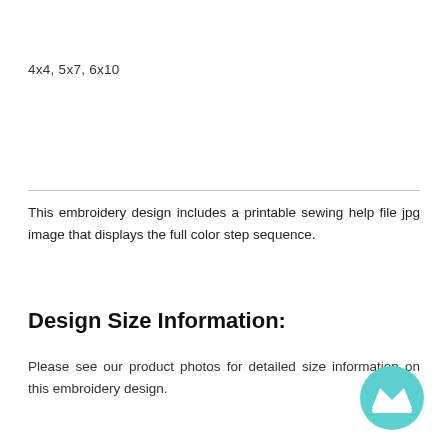4x4, 5x7, 6x10
This embroidery design includes a printable sewing help file jpg image that displays the full color step sequence.
Design Size Information:
Please see our product photos for detailed size information on this embroidery design.
[Figure (logo): Teal circular badge with a white crown icon]